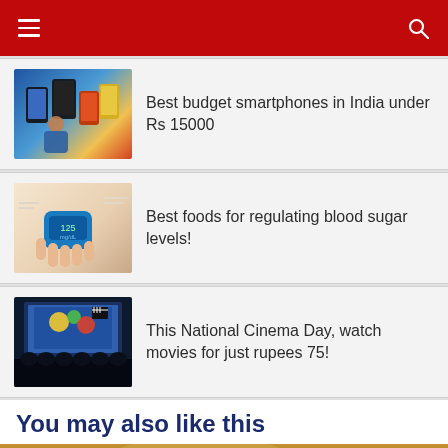Navigation header with hamburger menu and search icon
[Figure (screenshot): Thumbnail showing smartphones and a person holding phones against blue and yellow background]
Best budget smartphones in India under Rs 15000
[Figure (photo): Thumbnail showing hands holding a blue blood glucose meter]
Best foods for regulating blood sugar levels!
[Figure (screenshot): Thumbnail showing a cinema screen with popcorn and audience silhouettes]
This National Cinema Day, watch movies for just rupees 75!
You may also like this
[Figure (photo): Landscape photo with dramatic sky and clouds, person silhouette visible]